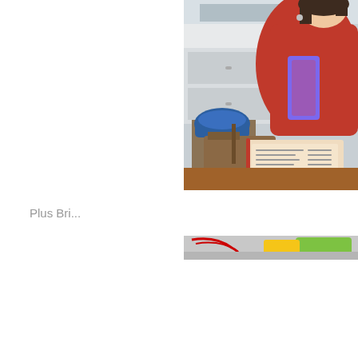[Figure (photo): A woman wearing a red knit sweater and colorful scarf sitting at a restaurant table, holding a menu. Bags are visible beside her on a bench. A window and white wall are in the background.]
Plus Bri...
[Figure (photo): Bottom portion of a second photo partially visible, showing what appears to be colorful items on a surface with a Coca-Cola logo visible.]